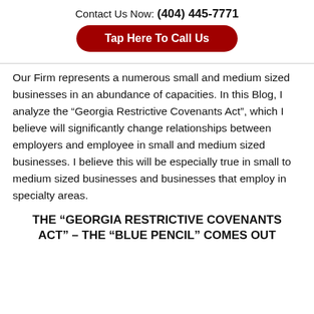Contact Us Now: (404) 445-7771
Tap Here To Call Us
Our Firm represents a numerous small and medium sized businesses in an abundance of capacities. In this Blog, I analyze the “Georgia Restrictive Covenants Act”, which I believe will significantly change relationships between employers and employee in small and medium sized businesses. I believe this will be especially true in small to medium sized businesses and businesses that employ in specialty areas.
THE “GEORGIA RESTRICTIVE COVENANTS ACT” – THE “BLUE PENCIL” COMES OUT